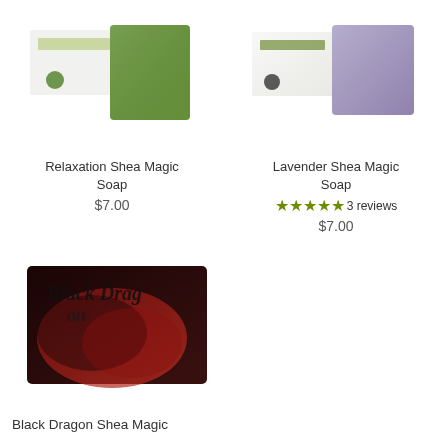[Figure (photo): Relaxation Shea Magic Soap product photo showing green soap bar with white packaging]
[Figure (photo): Lavender Shea Magic Soap product photo showing lavender and white soap bars with packaging]
Relaxation Shea Magic Soap
$7.00
Lavender Shea Magic Soap
★★★★★ 3 reviews
$7.00
[Figure (photo): Black Dragon Shea Magic Soap product photo showing dark dramatic soap packaging with dragon imagery]
Black Dragon Shea Magic